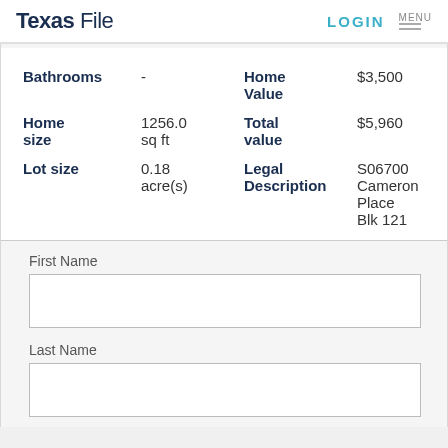Texas File  LOGIN  MENU
| Field | Value | Field | Value |
| --- | --- | --- | --- |
| Bathrooms | - | Home Value | $3,500 |
| Home size | 1256.0 sq ft | Total value | $5,960 |
| Lot size | 0.18 acre(s) | Legal Description | S06700 Cameron Place Blk 121 |
First Name
Last Name